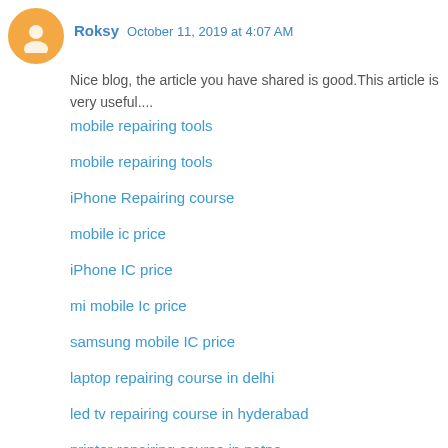Roksy  October 11, 2019 at 4:07 AM
Nice blog, the article you have shared is good.This article is very useful....
mobile repairing tools
mobile repairing tools
iPhone Repairing course
mobile ic price
iPhone IC price
mi mobile Ic price
samsung mobile IC price
laptop repairing course in delhi
led tv repairing course in hyderabad
printer repairing course in patna